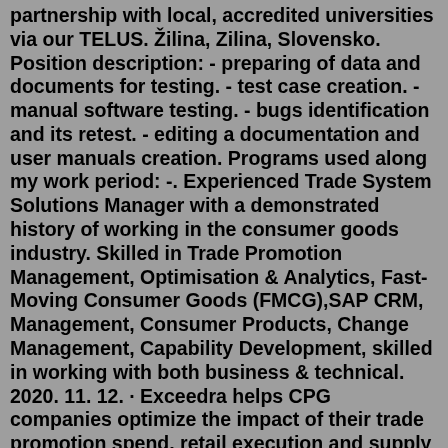partnership with local, accredited universities via our TELUS. Žilina, Zilina, Slovensko. Position description: - preparing of data and documents for testing. - test case creation. - manual software testing. - bugs identification and its retest. - editing a documentation and user manuals creation. Programs used along my work period: -. Experienced Trade System Solutions Manager with a demonstrated history of working in the consumer goods industry. Skilled in Trade Promotion Management, Optimisation & Analytics, Fast-Moving Consumer Goods (FMCG),SAP CRM, Management, Consumer Products, Change Management, Capability Development, skilled in working with both business & technical. 2020. 11. 12. · Exceedra helps CPG companies optimize the impact of their trade promotion spend, retail execution and supply chain management to increase market share and preserve shelf-space in retail. Providing them a competitive advantage by quickly connecting them to customers, providing real time access to reliable inventory and